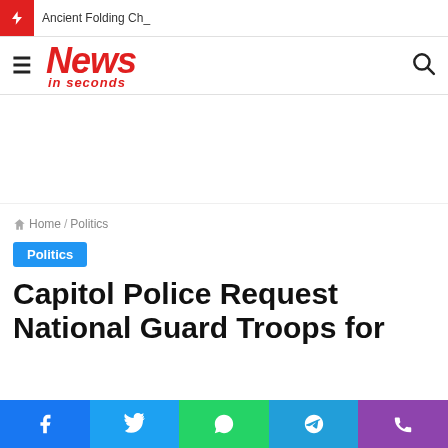Ancient Folding Ch_
[Figure (logo): News in seconds logo - red italic bold text]
Home / Politics
Politics
Capitol Police Request National Guard Troops for